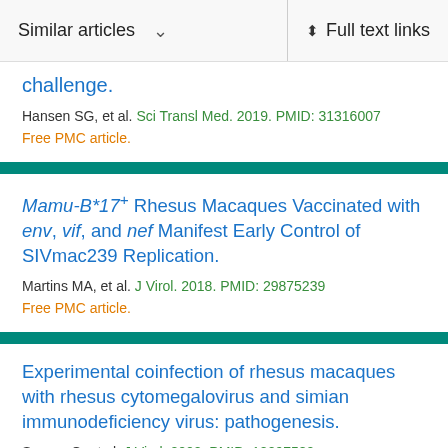Similar articles   Full text links
challenge.
Hansen SG, et al. Sci Transl Med. 2019. PMID: 31316007
Free PMC article.
Mamu-B*17+ Rhesus Macaques Vaccinated with env, vif, and nef Manifest Early Control of SIVmac239 Replication.
Martins MA, et al. J Virol. 2018. PMID: 29875239
Free PMC article.
Experimental coinfection of rhesus macaques with rhesus cytomegalovirus and simian immunodeficiency virus: pathogenesis.
Sequar G, et al. J Virol. 2002. PMID: 12097580
Free PMC article.